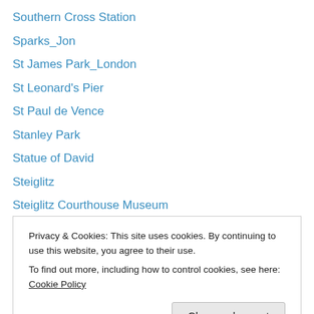Southern Cross Station
Sparks_Jon
St James Park_London
St Leonard's Pier
St Paul de Vence
Stanley Park
Statue of David
Steiglitz
Steiglitz Courthouse Museum
Sun Theatre
Swan Bay
Swan River
Switzerland
Privacy & Cookies: This site uses cookies. By continuing to use this website, you agree to their use. To find out more, including how to control cookies, see here: Cookie Policy
The Grampians